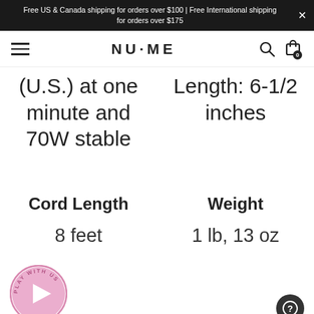Free US & Canada shipping for orders over $100 | Free International shipping for orders over $175
[Figure (screenshot): NuMe website navigation bar with hamburger menu, NuMe logo, search icon, and cart icon]
(U.S.) at one minute and 70W stable
Length: 6-1/2 inches
Cord Length
Weight
8 feet
1 lb, 13 oz